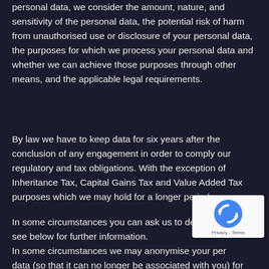personal data, we consider the amount, nature, and sensitivity of the personal data, the potential risk of harm from unauthorised use or disclosure of your personal data, the purposes for which we process your personal data and whether we can achieve those purposes through other means, and the applicable legal requirements.
By law we have to keep data for six years after the conclusion of any engagement in order to comply our regulatory and tax obligations. With the exception of Inheritance Tax, Capital Gains Tax and Value Added Tax purposes which we may hold for a longer period.
In some circumstances you can ask us to delete your data: see below for further information.
In some circumstances we may anonymise your personal data (so that it can no longer be associated with you) for
[Figure (logo): reCAPTCHA badge with rotating arrows logo and 'Privacy - Terms' text]